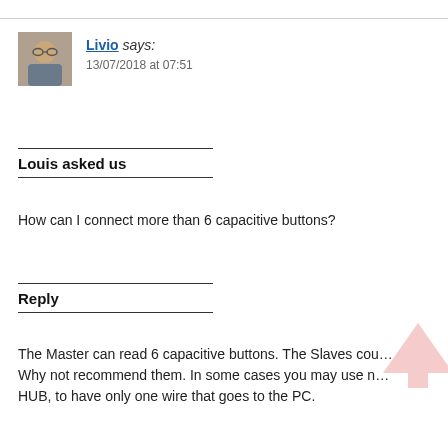[Figure (photo): Avatar photo of user Livio — a man with glasses]
Livio says:
13/07/2018 at 07:51
Louis asked us
How can I connect more than 6 capacitive buttons?
Reply
The Master can read 6 capacitive buttons. The Slaves cou… Why not recommend them. In some cases you may use n… HUB, to have only one wire that goes to the PC.